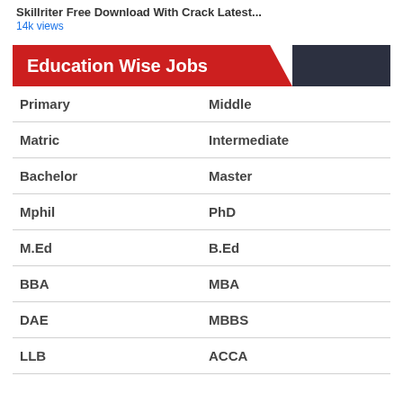Skillriter Free Download With Crack Latest...
14k views
Education Wise Jobs
| Primary | Middle |
| Matric | Intermediate |
| Bachelor | Master |
| Mphil | PhD |
| M.Ed | B.Ed |
| BBA | MBA |
| DAE | MBBS |
| LLB | ACCA |